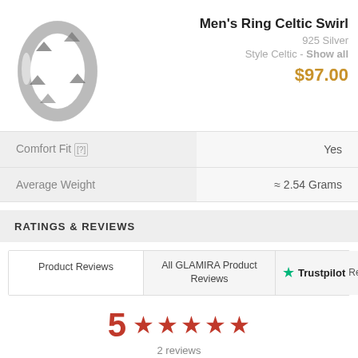[Figure (photo): Men's Ring Celtic Swirl silver ring product image, showing an open-work band with Celtic swirl pattern]
Men's Ring Celtic Swirl
925 Silver
Style Celtic - Show all
$97.00
| Property | Value |
| --- | --- |
| Comfort Fit [?] | Yes |
| Average Weight | ≈ 2.54 Grams |
RATINGS & REVIEWS
Product Reviews
All GLAMIRA Product Reviews
Trustpilot Reviews
5
2 reviews
5 stars 100% (2)